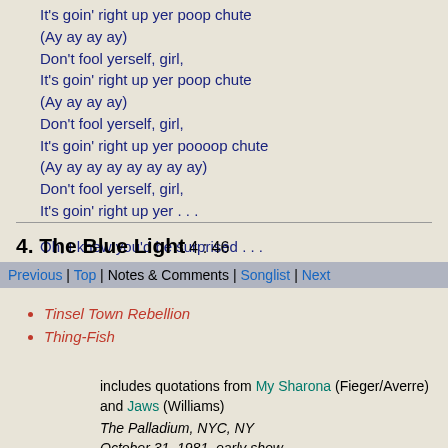It's goin' right up yer poop chute
(Ay ay ay ay)
Don't fool yerself, girl,
It's goin' right up yer poop chute
(Ay ay ay ay)
Don't fool yerself, girl,
It's goin' right up yer poooop chute
(Ay ay ay ay ay ay ay ay)
Don't fool yerself, girl,
It's goin' right up yer . . .

Oh, I knew you'd be surprised . . .
4. The Blue Light 4:46
Previous | Top | Notes & Comments | Songlist | Next
Tinsel Town Rebellion
Thing-Fish
includes quotations from My Sharona (Fieger/Averre) and Jaws (Williams)
The Palladium, NYC, NY
October 31, 1981, early show